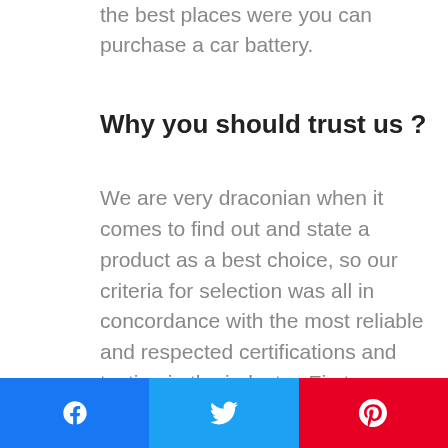the best places were you can purchase a car battery.
Why you should trust us ?
We are very draconian when it comes to find out and state a product as a best choice, so our criteria for selection was all in concordance with the most reliable and respected certifications and testing in the industry. First, we selected only models that are in accordance and/or have the approval of the Society of Automotive Engineers (SAE) in the United States of
[Figure (other): Social sharing buttons: Facebook (blue), Twitter (cyan), Pinterest (red)]